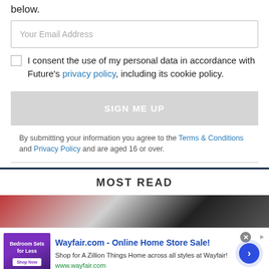below.
Your Email Address
I consent the use of my personal data in accordance with Future's privacy policy, including its cookie policy.
SIGN ME UP
By submitting your information you agree to the Terms & Conditions and Privacy Policy and are aged 16 or over.
MOST READ
[Figure (photo): Most read section image showing a dark device on a light background with red accent]
[Figure (screenshot): Wayfair.com advertisement banner with thumbnail, title, description and arrow button]